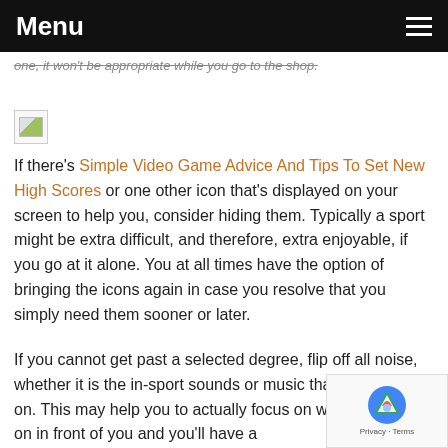Menu
one, it won't be appropriate while you go to the shop.
[Figure (photo): Broken image placeholder]
If there's Simple Video Game Advice And Tips To Set New High Scores or one other icon that's displayed on your screen to help you, consider hiding them. Typically a sport might be extra difficult, and therefore, extra enjoyable, if you go at it alone. You at all times have the option of bringing the icons again in case you resolve that you simply need them sooner or later.
If you cannot get past a selected degree, flip off all noise, whether it is the in-sport sounds or music that you've put on. This may help you to actually focus on what is going on in front of you and you'll have a